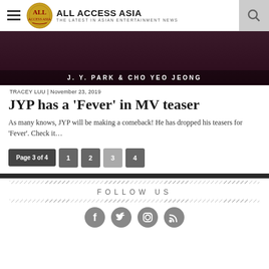ALL ACCESS ASIA – THE LATEST IN ASIAN ENTERTAINMENT NEWS
[Figure (photo): Hero image showing J.Y. Park & Cho Yeo Jeong with caption overlay]
TRACEY LUU | November 23, 2019
JYP has a 'Fever' in MV teaser
As many knows, JYP will be making a comeback! He has dropped his teasers for 'Fever'. Check it...
Page 3 of 4   1   2   3   4
FOLLOW US
[Figure (illustration): Social media icons: Facebook, Twitter, Instagram, RSS]